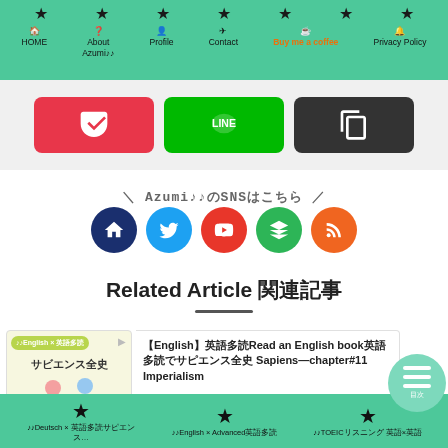★ HOME  ★ About Azumi♪♪  ★ Profile  ★ Contact  ★ Buy me a coffee  ★ Privacy Policy
[Figure (screenshot): Three share/save buttons: Pocket (red), LINE (green), Copy (dark gray)]
＼ Azumi♪♪のSNSはこちら ／
[Figure (infographic): Five social media circle icon buttons: Home (dark blue), Twitter (blue), YouTube (red), Feedly (green), RSS (orange)]
Related Article 関連記事
[Figure (screenshot): Article card thumbnail with サビエンス全史 label and two illustrated figures]
【English】英語多読Read an English book英語多読でサピエンス全史 Sapiens—chapter#11 Imperialism
★ ♪♪Deutsch × 英語多読サピエンス全史  ★ ♪♪English × Advanced英語多読  ★ ♪♪TOEICリスニング 英語×英語